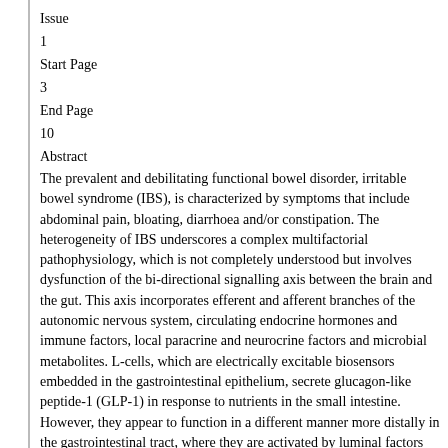Issue
1
Start Page
3
End Page
10
Abstract
The prevalent and debilitating functional bowel disorder, irritable bowel syndrome (IBS), is characterized by symptoms that include abdominal pain, bloating, diarrhoea and/or constipation. The heterogeneity of IBS underscores a complex multifactorial pathophysiology, which is not completely understood but involves dysfunction of the bi-directional signalling axis between the brain and the gut. This axis incorporates efferent and afferent branches of the autonomic nervous system, circulating endocrine hormones and immune factors, local paracrine and neurocrine factors and microbial metabolites. L-cells, which are electrically excitable biosensors embedded in the gastrointestinal epithelium, secrete glucagon-like peptide-1 (GLP-1) in response to nutrients in the small intestine. However, they appear to function in a different manner more distally in the gastrointestinal tract, where they are activated by luminal factors including short-chain fatty acids, bile acids and microbial metabolic products, all of which are altered in IBS patients. Glucagon-like peptide-1 can also interact with the hypothalamic–pituitary–adrenal stress axis and